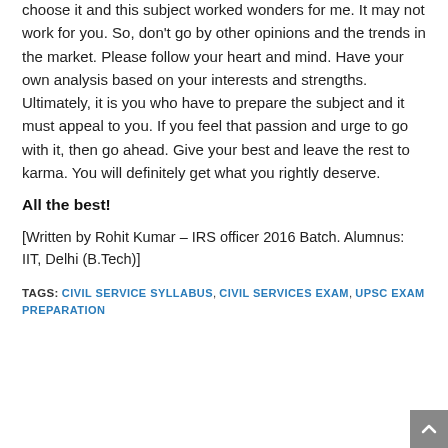choose it and this subject worked wonders for me. It may not work for you. So, don't go by other opinions and the trends in the market. Please follow your heart and mind. Have your own analysis based on your interests and strengths. Ultimately, it is you who have to prepare the subject and it must appeal to you. If you feel that passion and urge to go with it, then go ahead. Give your best and leave the rest to karma. You will definitely get what you rightly deserve.
All the best!
[Written by Rohit Kumar – IRS officer 2016 Batch. Alumnus: IIT, Delhi (B.Tech)]
TAGS: CIVIL SERVICE SYLLABUS, CIVIL SERVICES EXAM, UPSC EXAM PREPARATION